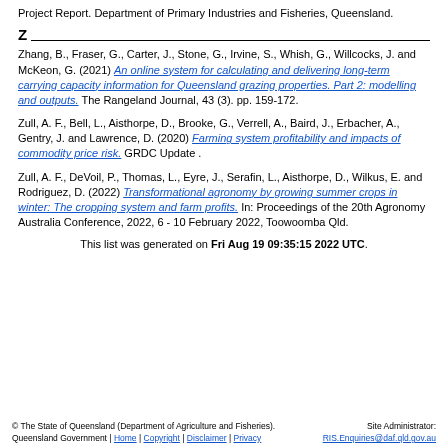Project Report. Department of Primary Industries and Fisheries, Queensland.
Z
Zhang, B., Fraser, G., Carter, J., Stone, G., Irvine, S., Whish, G., Willcocks, J. and McKeon, G. (2021) An online system for calculating and delivering long-term carrying capacity information for Queensland grazing properties. Part 2: modelling and outputs. The Rangeland Journal, 43 (3). pp. 159-172.
Zull, A. F., Bell, L., Aisthorpe, D., Brooke, G., Verrell, A., Baird, J., Erbacher, A., Gentry, J. and Lawrence, D. (2020) Farming system profitability and impacts of commodity price risk. GRDC Update .
Zull, A. F., DeVoil, P., Thomas, L., Eyre, J., Serafin, L., Aisthorpe, D., Wilkus, E. and Rodriguez, D. (2022) Transformational agronomy by growing summer crops in winter: The cropping system and farm profits. In: Proceedings of the 20th Agronomy Australia Conference, 2022, 6 - 10 February 2022, Toowoomba Qld.
This list was generated on Fri Aug 19 09:35:15 2022 UTC.
© The State of Queensland (Department of Agriculture and Fisheries). Queensland Government | Home | Copyright | Disclaimer | Privacy   Site Administrator: RIS.Enquiries@daf.qld.gov.au